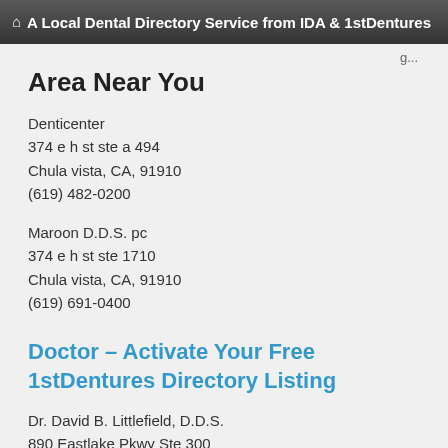A Local Dental Directory Service from IDA & 1stDentures
Area Near You
Denticenter
374 e h st ste a 494
Chula vista, CA, 91910
(619) 482-0200
Maroon D.D.S. pc
374 e h st ste 1710
Chula vista, CA, 91910
(619) 691-0400
Doctor - Activate Your Free 1stDentures Directory Listing
Dr. David B. Littlefield, D.D.S.
890 Eastlake Pkwy Ste 300
Chula Vista, CA, 91914
Maroon, John P D.D.S.
1177 Broadway # 19